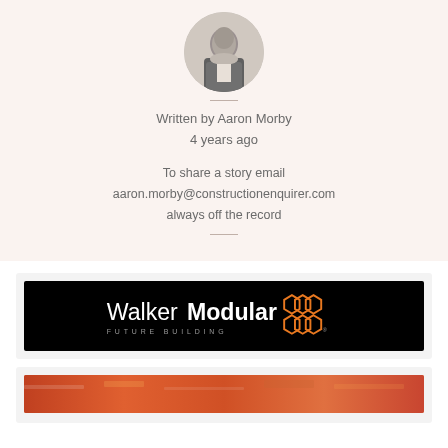[Figure (photo): Circular headshot photo of Aaron Morby, a man in a dark suit jacket]
Written by Aaron Morby
4 years ago
To share a story email
aaron.morby@constructionenquirer.com
always off the record
[Figure (logo): Walker Modular – Future Building logo on black background with orange hexagon pattern]
[Figure (photo): Partially visible colourful photo strip at bottom of page]